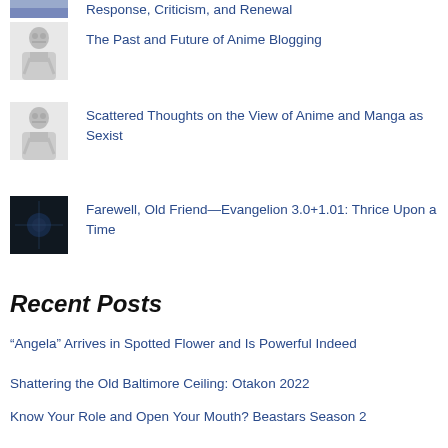Response, Criticism, and Renewal
The Past and Future of Anime Blogging
Scattered Thoughts on the View of Anime and Manga as Sexist
Farewell, Old Friend—Evangelion 3.0+1.01: Thrice Upon a Time
Recent Posts
“Angela” Arrives in Spotted Flower and Is Powerful Indeed
Shattering the Old Baltimore Ceiling: Otakon 2022
Know Your Role and Open Your Mouth? Beastars Season 2